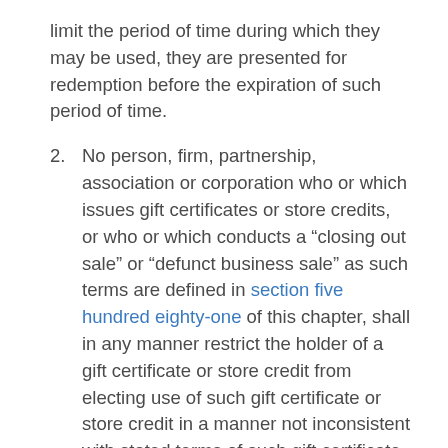limit the period of time during which they may be used, they are presented for redemption before the expiration of such period of time.
2.    No person, firm, partnership, association or corporation who or which issues gift certificates or store credits, or who or which conducts a “closing out sale” or “defunct business sale” as such terms are defined in section five hundred eighty-one of this chapter, shall in any manner restrict the holder of a gift certificate or store credit from electing use of such gift certificate or store credit in a manner not inconsistent with stated terms of such gift certificate or store credit, nor shall any person, firm, partnership, association or corporation who or which issues gift certificates or store credits, or who or which conducts a “closing out sale” or “defunct business sale” as such terms are defined in section five hundred eighty-